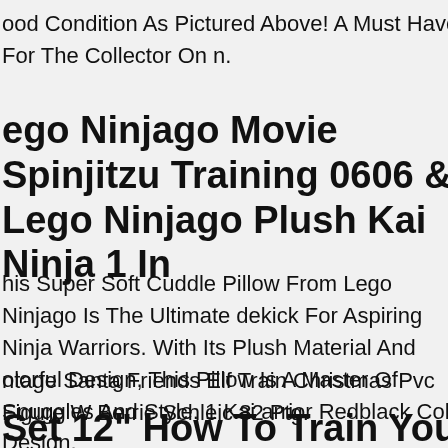ood Condition As Pictured Above! A Must Have For The Collector On n.
ego Ninjago Movie Spinjitzu Training 0606 & Lego Ninjago Plush Kai Ninja 1 In
his Super Soft Cuddle Pillow From Lego Ninjago Is The Ultimate dekick For Aspiring Ninja Warriors. With Its Plush Material And olorful Design, This Pillow Is A Master Of Snuggles And Style. 1 Kai arrior Redblack Color Design.
ntage Santa Friends Elf Train Christmas Pvc Figure W Berrie Schleic 82 Ptg.
Set 12" How To Train Your Dragon3 oothlace & Light Fury Plush Doll Soft